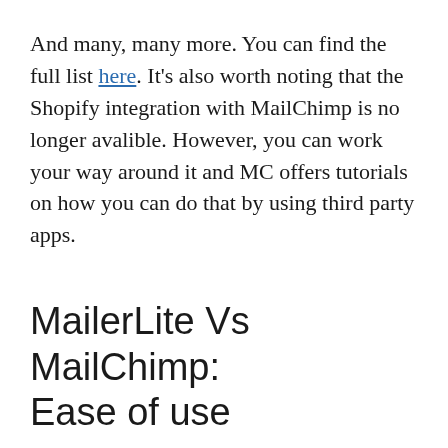And many, many more. You can find the full list here. It's also worth noting that the Shopify integration with MailChimp is no longer avalible. However, you can work your way around it and MC offers tutorials on how you can do that by using third party apps.
MailerLite Vs MailChimp: Ease of use
Whenever you want to use new software, you'll want to choose something that's user-